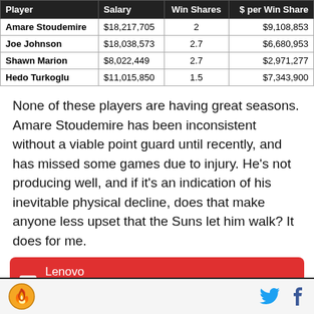| Player | Salary | Win Shares | $ per Win Share |
| --- | --- | --- | --- |
| Amare Stoudemire | $18,217,705 | 2 | $9,108,853 |
| Joe Johnson | $18,038,573 | 2.7 | $6,680,953 |
| Shawn Marion | $8,022,449 | 2.7 | $2,971,277 |
| Hedo Turkoglu | $11,015,850 | 1.5 | $7,343,900 |
None of these players are having great seasons. Amare Stoudemire has been inconsistent without a viable point guard until recently, and has missed some games due to injury. He's not producing well, and if it's an indication of his inevitable physical decline, does that make anyone less upset that the Suns let him walk? It does for me.
[Figure (other): Lenovo advertisement banner: red background with 'AD' tag, 'Lenovo' brand name and tagline 'Beautifully designed to just be you.']
Site logo (flame icon), Twitter bird icon, Facebook 'f' icon